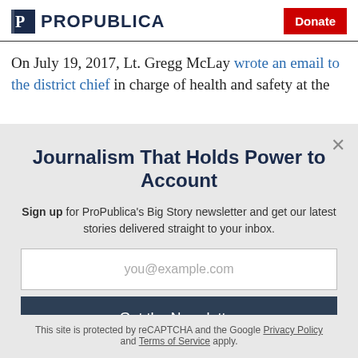ProPublica | Donate
On July 19, 2017, Lt. Gregg McLay wrote an email to the district chief in charge of health and safety at the
Journalism That Holds Power to Account
Sign up for ProPublica's Big Story newsletter and get our latest stories delivered straight to your inbox.
you@example.com
Get the Newsletter
No thanks, I'm all set
This site is protected by reCAPTCHA and the Google Privacy Policy and Terms of Service apply.